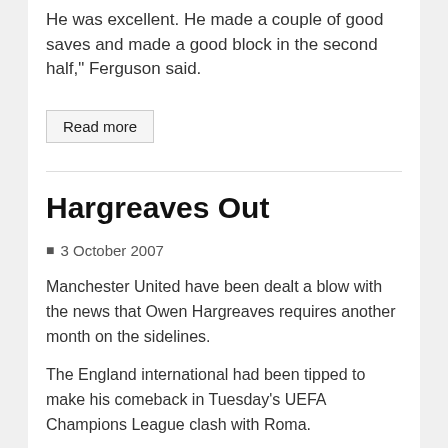He was excellent. He made a couple of good saves and made a good block in the second half," Ferguson said.
Read more
Hargreaves Out
3 October 2007
Manchester United have been dealt a blow with the news that Owen Hargreaves requires another month on the sidelines.
The England international had been tipped to make his comeback in Tuesday's UEFA Champions League clash with Roma.
However, Hargreaves felt his knee in training on Monday and now United have opted to give him an injection in his knee.